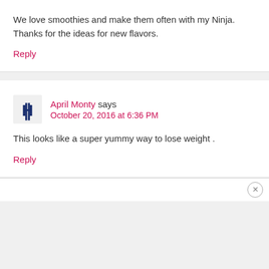We love smoothies and make them often with my Ninja. Thanks for the ideas for new flavors.
Reply
April Monty says October 20, 2016 at 6:36 PM
This looks like a super yummy way to lose weight .
Reply